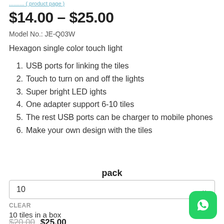.......... (product page link)
$14.00 – $25.00
Model No.: JE-Q03W
Hexagon single color touch light
USB ports for linking the tiles
Touch to turn on and off the lights
Super bright LED ights
One adapter support 6-10 tiles
The rest USB ports can be charger to mobile phones
Make your own design with the tiles
pack
10
CLEAR
10 tiles in a box
$20.00  $25.00